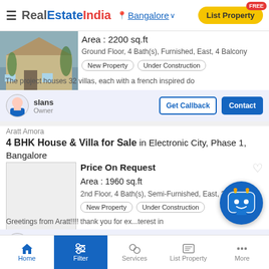RealEstateIndia — Bangalore — List Property
[Figure (photo): House/villa exterior photo thumbnail]
Area : 2200 sq.ft
Ground Floor, 4 Bath(s), Furnished, East, 4 Balcony
New Property   Under Construction
The project houses 32 villas, each with a french inspired do
slans
Owner
Get Callback   Contact
Aratt Amora
4 BHK House & Villa for Sale in Electronic City, Phase 1, Bangalore
Price On Request
Area : 1960 sq.ft
2nd Floor, 4 Bath(s), Semi-Furnished, East, 2 Balcony
New Property   Under Construction
Greetings from Aratt!!!! thank you for ex...terest in
venkatesh
Owner
Get Callback   Contact
Home   Filter   Services   List Property   More